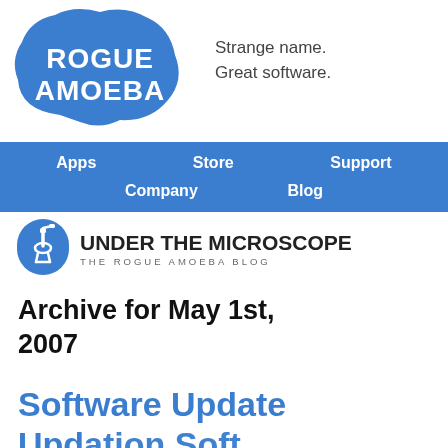[Figure (logo): Rogue Amoeba logo: blue star-burst/amoeba shape with white text ROGUE AMOEBA]
Strange name.
Great software.
Apps   Store   Support   Company   Blog
[Figure (logo): Under the Microscope - The Rogue Amoeba Blog logo with microscope icon]
Archive for May 1st, 2007
Software Update